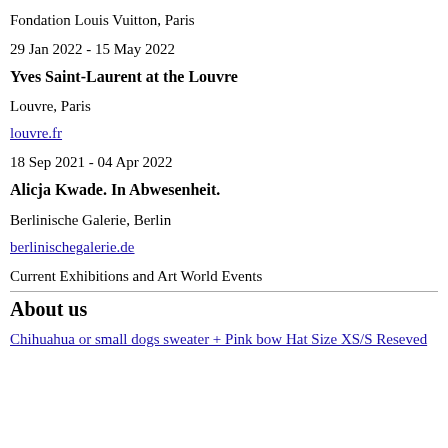Fondation Louis Vuitton, Paris
29 Jan 2022 - 15 May 2022
Yves Saint-Laurent at the Louvre
Louvre, Paris
louvre.fr
18 Sep 2021 - 04 Apr 2022
Alicja Kwade. In Abwesenheit.
Berlinische Galerie, Berlin
berlinischegalerie.de
Current Exhibitions and Art World Events
About us
Chihuahua or small dogs sweater + Pink bow Hat Size XS/S Reseved